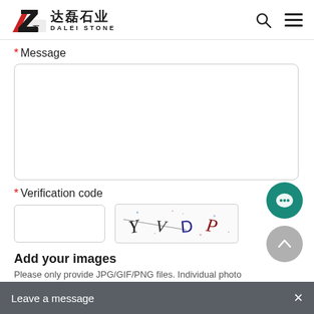[Figure (logo): Dalei Stone logo with Chinese characters and English text DALEI STONE, with search and menu icons on the right]
* Message
[Figure (screenshot): Empty message text input box with rounded border]
* Verification code
[Figure (screenshot): Verification code input field and CAPTCHA image showing letters Y V D P]
Add your images
Please only provide JPG/GIF/PNG files. Individual photo size cannot exceed 2MB.
[Figure (screenshot): Upload image box with dashed border, plus sign, and 1/3 label]
Leave a message